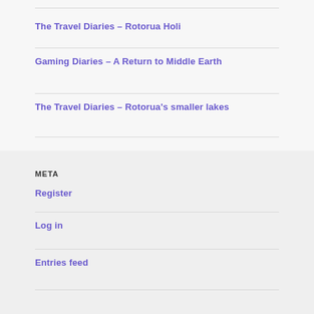The Travel Diaries – Rotorua Holi
Gaming Diaries – A Return to Middle Earth
The Travel Diaries – Rotorua's smaller lakes
META
Register
Log in
Entries feed